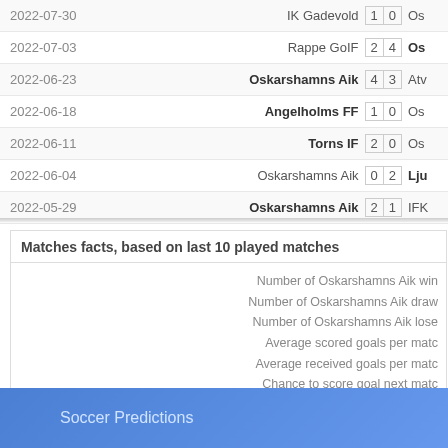| Date | Home Team | Score | Away Team |
| --- | --- | --- | --- |
| 2022-07-30 | IK Gadevold | 1 0 | Os... |
| 2022-07-03 | Rappe GoIF | 2 4 | Os... |
| 2022-06-23 | Oskarshamns Aik | 4 3 | Atv... |
| 2022-06-18 | Angelholms FF | 1 0 | Os... |
| 2022-06-11 | Torns IF | 2 0 | Os... |
| 2022-06-04 | Oskarshamns Aik | 0 2 | Lju... |
| 2022-05-29 | Oskarshamns Aik | 2 1 | IFK... |
Matches facts, based on last 10 played matches
Number of Oskarshamns Aik wins
Number of Oskarshamns Aik draws
Number of Oskarshamns Aik loses
Average scored goals per match
Average received goals per match
Chance to score goal next match
Chance to receive goal next match
Soccer Predictions